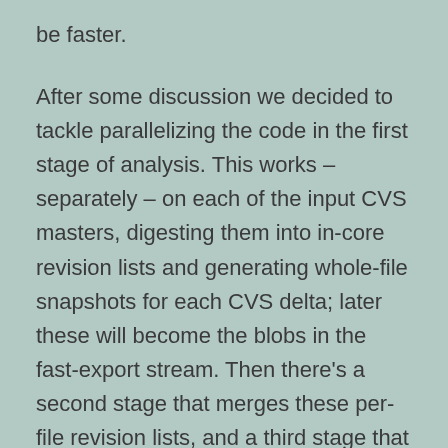be faster.
After some discussion we decided to tackle parallelizing the code in the first stage of analysis. This works – separately – on each of the input CVS masters, digesting them into in-core revision lists and generating whole-file snapshots for each CVS delta; later these will become the blobs in the fast-export stream. Then there's a second stage that merges these per-file revision lists, and a third stage that exports the merged result.
Here's more detail, because you'll need it to